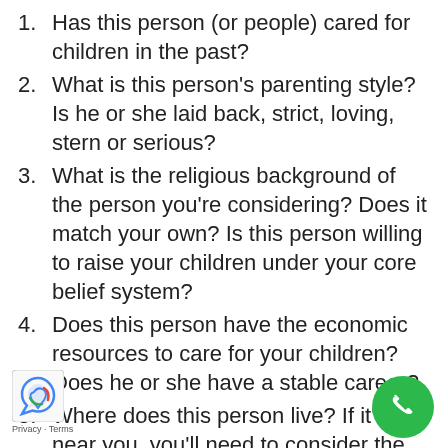Has this person (or people) cared for children in the past?
What is this person’s parenting style? Is he or she laid back, strict, loving, stern or serious?
What is the religious background of the person you’re considering? Does it match your own? Is this person willing to raise your children under your core belief system?
Does this person have the economic resources to care for your children? Does he or she have a stable career?
Where does this person live? If it’s not near you, you’ll need to consider the ramifications of changing schools and friends during an already difficult time for